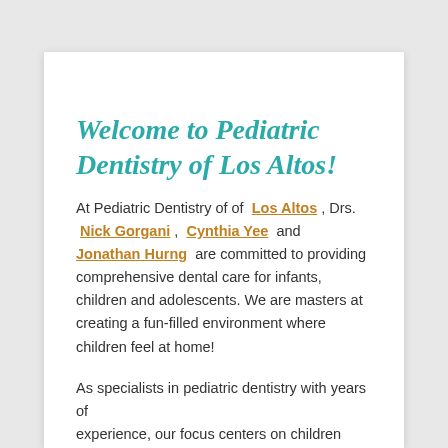Welcome to Pediatric Dentistry of Los Altos!
At Pediatric Dentistry of of Los Altos, Drs. Nick Gorgani, Cynthia Yee and Jonathan Hurng are committed to providing comprehensive dental care for infants, children and adolescents. We are masters at creating a fun-filled environment where children feel at home!
As specialists in pediatric dentistry with years of experience, our focus centers on children and...